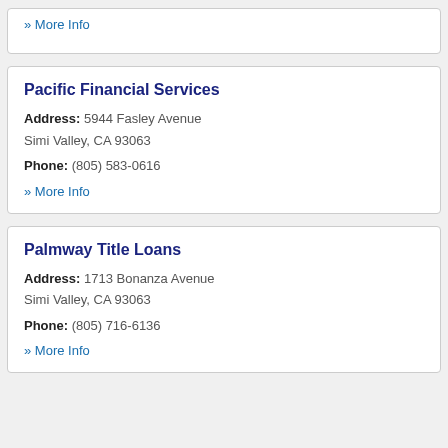» More Info
Pacific Financial Services
Address: 5944 Fasley Avenue Simi Valley, CA 93063
Phone: (805) 583-0616
» More Info
Palmway Title Loans
Address: 1713 Bonanza Avenue Simi Valley, CA 93063
Phone: (805) 716-6136
» More Info